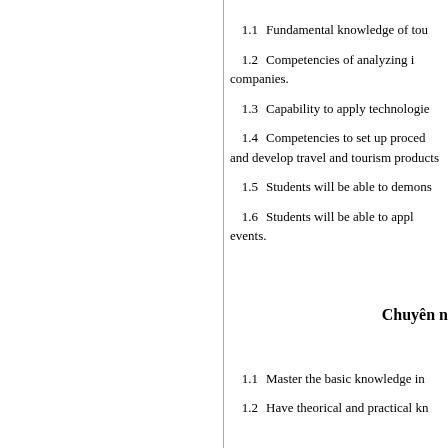1.1   Fundamental knowledge of tou...
1.2   Competencies of analyzing i... companies.
1.3   Capability to apply technologie...
1.4   Competencies to set up proced... and develop travel and tourism products...
1.5   Students will be able to demons...
1.6   Students will be able to appl... events.
Chuyên n
1.1   Master the basic knowledge in...
1.2   Have theorical and practical kn...